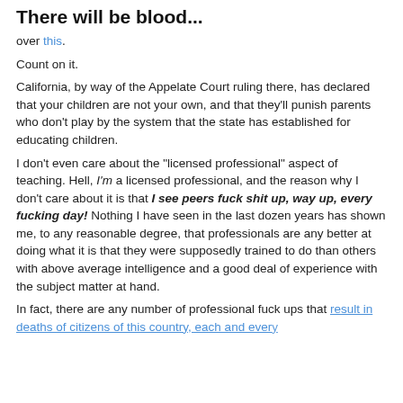There will be blood...
over this.
Count on it.
California, by way of the Appelate Court ruling there, has declared that your children are not your own, and that they'll punish parents who don't play by the system that the state has established for educating children.
I don't even care about the "licensed professional" aspect of teaching. Hell, I'm a licensed professional, and the reason why I don't care about it is that I see peers fuck shit up, way up, every fucking day! Nothing I have seen in the last dozen years has shown me, to any reasonable degree, that professionals are any better at doing what it is that they were supposedly trained to do than others with above average intelligence and a good deal of experience with the subject matter at hand.
In fact, there are any number of professional fuck ups that result in deaths of citizens of this country, each and every